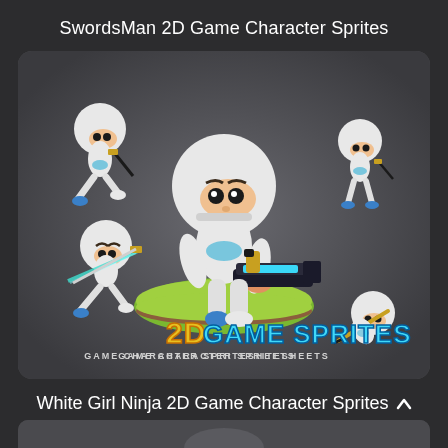SwordsMan 2D Game Character Sprites
[Figure (illustration): White ninja 2D game character sprites showing multiple poses: main character holding a blue sci-fi gun on a green platform, smaller running pose top-left, standing pose top-right, sword attack pose bottom-left, falling pose bottom-right. Logo reads '2D GAME SPRITES - GAME CHARACTER SPRITESHEETS'.]
White Girl Ninja 2D Game Character Sprites